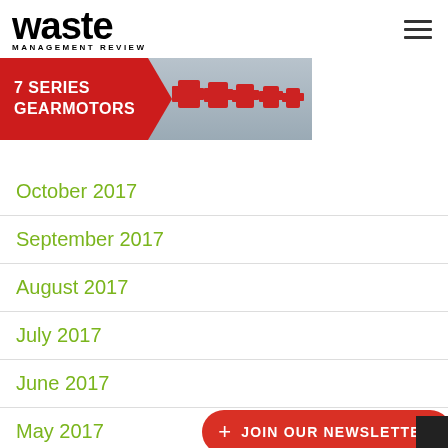waste MANAGEMENT REVIEW
[Figure (infographic): Banner advertisement for 7 Series Gearmotors showing red industrial gearmotor units against a grey background with red chevron branding]
October 2017
September 2017
August 2017
July 2017
June 2017
May 2017
April 2017